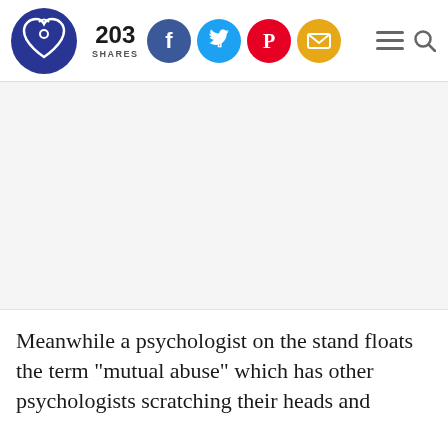203 SHARES [social icons: Facebook, Twitter, Pinterest, Email] [hamburger menu] [search]
[Figure (other): Advertisement or image area — blank/white rectangle occupying the middle section of the page]
Meanwhile a psychologist on the stand floats the term “mutual abuse” which has other psychologists scratching their heads and